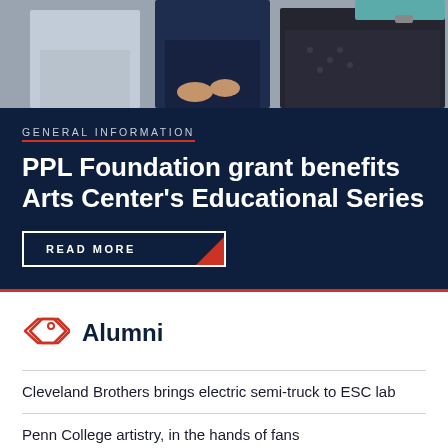[Figure (photo): Three people standing together, partially cropped photo showing lower bodies and hands]
GENERAL INFORMATION
PPL Foundation grant benefits Arts Center's Educational Series
READ MORE
Alumni
Cleveland Brothers brings electric semi-truck to ESC lab
Penn College artistry, in the hands of fans
Launch party playfully ushers audience to 'Prime'-time